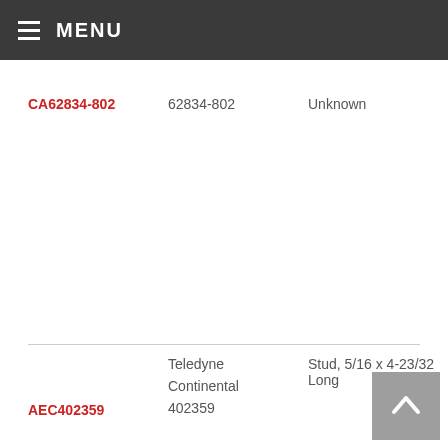MENU
CA62834-802
62834-802
Unknown
AEC402359
Teledyne Continental 402359
Stud, 5/16 x 4-23/32 Long